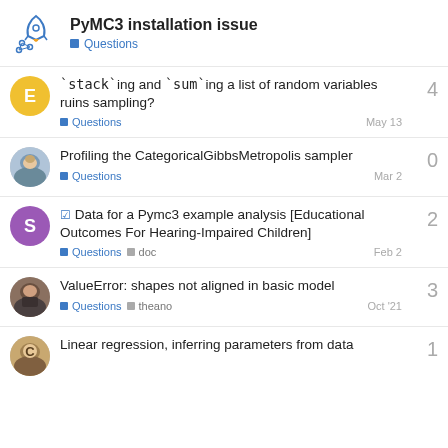PyMC3 installation issue | Questions
`stack`ing and `sum`ing a list of random variables ruins sampling? — Questions — May 13 — 4 replies
Profiling the CategoricalGibbsMetropolis sampler — Questions — Mar 2 — 0 replies
✓ Data for a Pymc3 example analysis [Educational Outcomes For Hearing-Impaired Children] — Questions, doc — Feb 2 — 2 replies
ValueError: shapes not aligned in basic model — Questions, theano — Oct '21 — 3 replies
Linear regression, inferring parameters from data — 1 reply